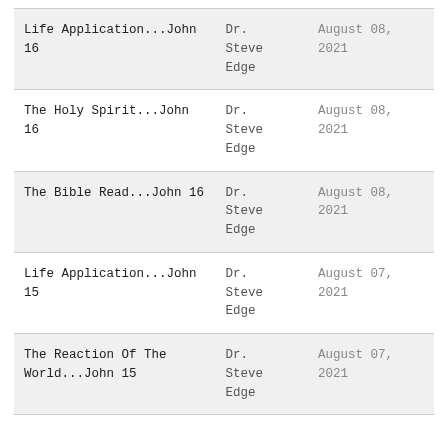| Life Application...John 16 | Dr.
Steve
Edge | August 08,
2021 |
| The Holy Spirit...John 16 | Dr.
Steve
Edge | August 08,
2021 |
| The Bible Read...John 16 | Dr.
Steve
Edge | August 08,
2021 |
| Life Application...John 15 | Dr.
Steve
Edge | August 07,
2021 |
| The Reaction Of The World...John 15 | Dr.
Steve
Edge | August 07,
2021 |